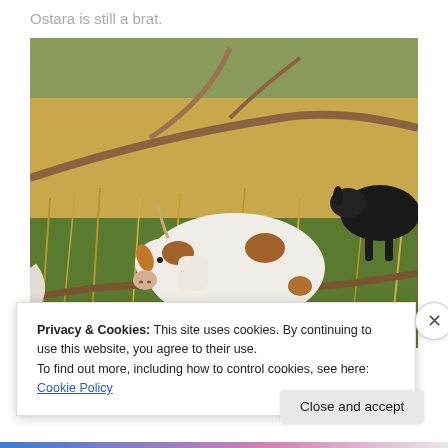Ostara is still a brat.
[Figure (photo): A white and brown goat standing in grassy field with branches in foreground; a black goat visible in background]
Privacy & Cookies: This site uses cookies. By continuing to use this website, you agree to their use.
To find out more, including how to control cookies, see here: Cookie Policy